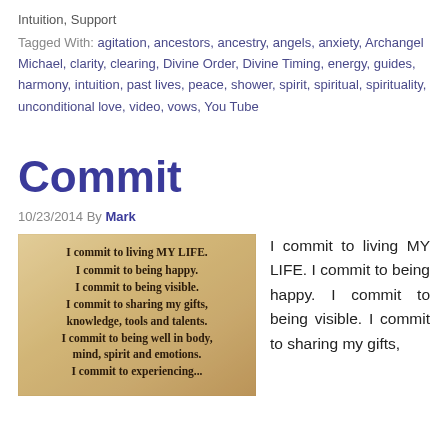Intuition, Support
Tagged With: agitation, ancestors, ancestry, angels, anxiety, Archangel Michael, clarity, clearing, Divine Order, Divine Timing, energy, guides, harmony, intuition, past lives, peace, shower, spirit, spiritual, spirituality, unconditional love, video, vows, You Tube
Commit
10/23/2014 By Mark
[Figure (photo): Parchment-style image with text: I commit to living MY LIFE. I commit to being happy. I commit to being visible. I commit to sharing my gifts, knowledge, tools and talents. I commit to being well in body, mind, spirit and emotions. I commit to experiencing...]
I commit to living MY LIFE. I commit to being happy. I commit to being visible. I commit to sharing my gifts,